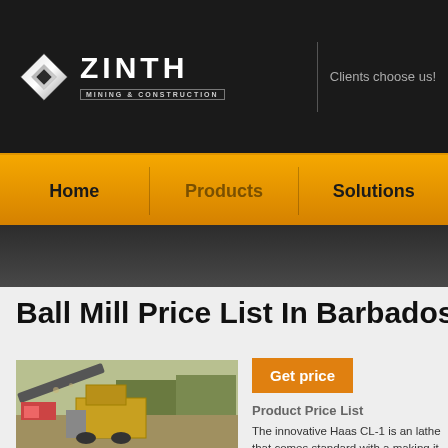[Figure (logo): Zinth Mining & Construction logo with silver diamond shape and bold white text]
Clients choose us!
Home | Products | Solutions
Ball Mill Price List In Barbados
[Figure (photo): Industrial ball mill / mining equipment machinery photograph]
Get price
Product Price List
The innovative Haas CL-1 is an lathe that comes standard with a making it perfect for high-volume